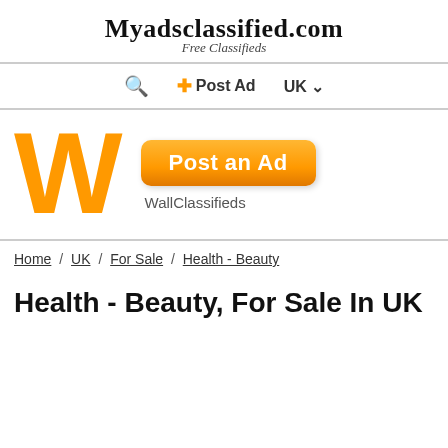Myadsclassified.com Free Classifieds
🔍  ⊕ Post Ad  UK ▾
[Figure (logo): Large orange W letter logo with 'Post an Ad' orange button and 'WallClassifieds' text]
Home / UK / For Sale / Health - Beauty
Health - Beauty, For Sale In UK